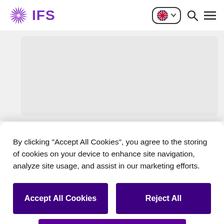[Figure (logo): IFS logo with purple sunburst icon and purple IFS text]
By clicking “Accept All Cookies”, you agree to the storing of cookies on your device to enhance site navigation, analyze site usage, and assist in our marketing efforts.
Accept All Cookies
Reject All
Cookies Settings